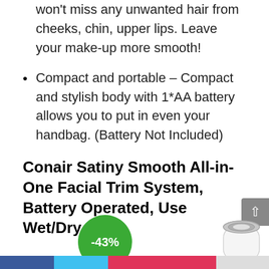Built-in LED light – With a built-in LED light, you won't miss any unwanted hair from cheeks, chin, upper lips. Leave your make-up more smooth!
Compact and portable – Compact and stylish body with 1*AA battery allows you to put in even your handbag. (Battery Not Included)
Conair Satiny Smooth All-in-One Facial Trim System, Battery Operated, Use Wet/Dry
[Figure (other): Green circular discount badge showing -43% and partial product image of a facial trimmer (white device, silver top)]